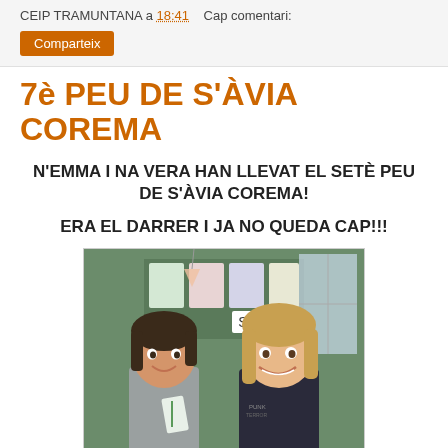CEIP TRAMUNTANA a 18:41   Cap comentari:
Comparteix
7è PEU DE S'ÀVIA COREMA
N'EMMA I NA VERA HAN LLEVAT EL SETÈ PEU DE S'ÀVIA COREMA!
ERA EL DARRER I JA NO QUEDA CAP!!!
[Figure (photo): Two young girls smiling in a classroom, holding a paper craft. Behind them are educational posters and classroom decorations.]